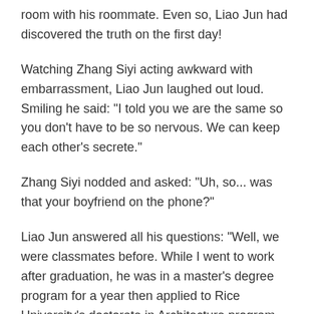room with his roommate. Even so, Liao Jun had discovered the truth on the first day!
Watching Zhang Siyi acting awkward with embarrassment, Liao Jun laughed out loud. Smiling he said: "I told you we are the same so you don't have to be so nervous. We can keep each other's secrete."
Zhang Siyi nodded and asked: "Uh, so... was that your boyfriend on the phone?"
Liao Jun answered all his questions: "Well, we were classmates before. While I went to work after graduation, he was in a master's degree program for a year then applied to Rice University's doctorate in Architecture program. He left China in August."